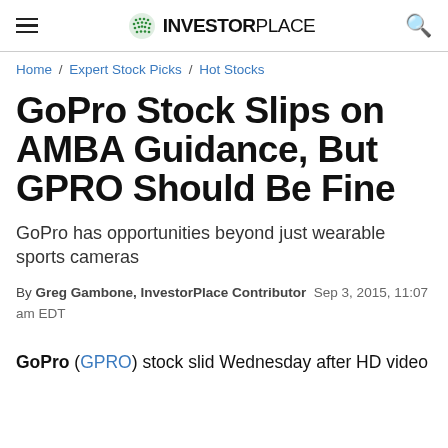InvestorPlace
Home / Expert Stock Picks / Hot Stocks
GoPro Stock Slips on AMBA Guidance, But GPRO Should Be Fine
GoPro has opportunities beyond just wearable sports cameras
By Greg Gambone, InvestorPlace Contributor  Sep 3, 2015, 11:07 am EDT
GoPro (GPRO) stock slid Wednesday after HD video